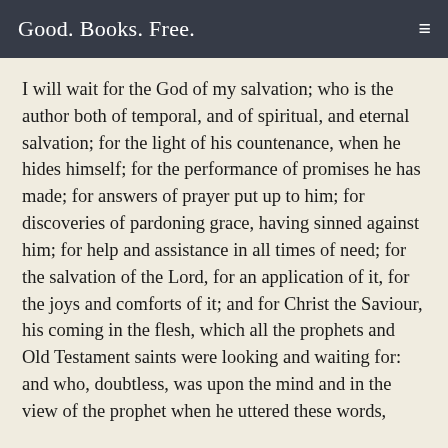Good. Books. Free.
I will wait for the God of my salvation; who is the author both of temporal, and of spiritual, and eternal salvation; for the light of his countenance, when he hides himself; for the performance of promises he has made; for answers of prayer put up to him; for discoveries of pardoning grace, having sinned against him; for help and assistance in all times of need; for the salvation of the Lord, for an application of it, for the joys and comforts of it; and for Christ the Saviour, his coming in the flesh, which all the prophets and Old Testament saints were looking and waiting for: and who, doubtless, was upon the mind and in the view of the prophet when he uttered these words,
my God will hear me; this is the language of faith,